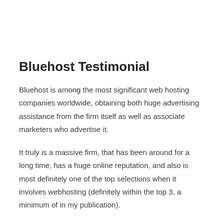Bluehost Testimonial
Bluehost is among the most significant web hosting companies worldwide, obtaining both huge advertising assistance from the firm itself as well as associate marketers who advertise it.
It truly is a massive firm, that has been around for a long time, has a huge online reputation, and also is most definitely one of the top selections when it involves webhosting (definitely within the top 3, a minimum of in my publication).
However what is it exactly, and also should you get its services?
Learn More About SolWordP...